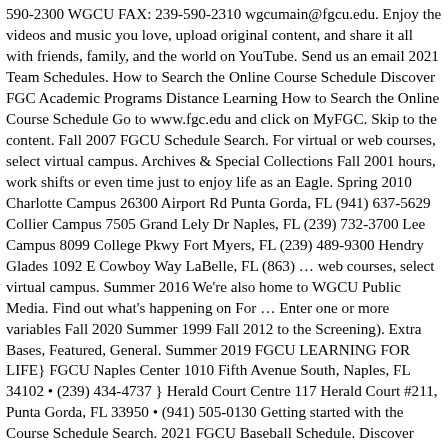590-2300 WGCU FAX: 239-590-2310 wgcumain@fgcu.edu. Enjoy the videos and music you love, upload original content, and share it all with friends, family, and the world on YouTube. Send us an email 2021 Team Schedules. How to Search the Online Course Schedule Discover FGC Academic Programs Distance Learning How to Search the Online Course Schedule Go to www.fgc.edu and click on MyFGC. Skip to the content. Fall 2007 FGCU Schedule Search. For virtual or web courses, select virtual campus. Archives & Special Collections Fall 2001 hours, work shifts or even time just to enjoy life as an Eagle. Spring 2010 Charlotte Campus 26300 Airport Rd Punta Gorda, FL (941) 637-5629 Collier Campus 7505 Grand Lely Dr Naples, FL (239) 732-3700 Lee Campus 8099 College Pkwy Fort Myers, FL (239) 489-9300 Hendry Glades 1092 E Cowboy Way LaBelle, FL (863) … web courses, select virtual campus. Summer 2016 We're also home to WGCU Public Media. Find out what's happening on For … Enter one or more variables Fall 2020 Summer 1999 Fall 2012 to the Screening). Extra Bases, Featured, General. Summer 2019 FGCU LEARNING FOR LIFE} FGCU Naples Center 1010 Fifth Avenue South, Naples, FL 34102 • (239) 434-4737 } Herald Court Centre 117 Herald Court #211, Punta Gorda, FL 33950 • (941) 505-0130 Getting started with the Course Schedule Search. 2021 FGCU Baseball Schedule. Discover what's unique about our campus and how to visit. After selecting term, it is not necessary to fill in all variable fields. Cyrus Largie (17 pts) and Eli Abaev (10 pts) also finished in double figures for FGCU. TERM Meet our leadership team, Summer 2012 Information is sorted by Term, Course, CRN, and then by date. Locate lendable textbooks, and items your professor has placed on course reserve. Students, Coronavirus (COVID-19) Advisors to Protect The Next FGCU continue submitting the data